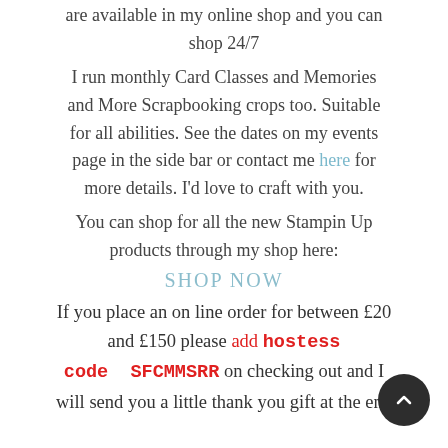are available in my online shop and you can shop 24/7
I run monthly Card Classes and Memories and More Scrapbooking crops too. Suitable for all abilities. See the dates on my events page in the side bar or contact me here for more details. I'd love to craft with you.
You can shop for all the new Stampin Up products through my shop here:
SHOP NOW
If you place an on line order for between £20 and £150 please add hostess code  SFCMMSRR on checking out and I will send you a little thank you gift at the end